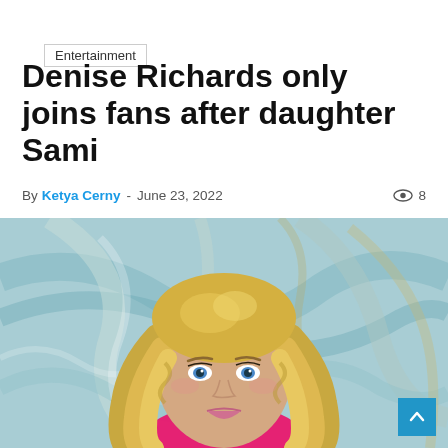Entertainment
Denise Richards only joins fans after daughter Sami
By Ketya Cerny - June 23, 2022  8
[Figure (photo): Portrait photo of Denise Richards, a blonde woman in a pink top, against a teal marble background]